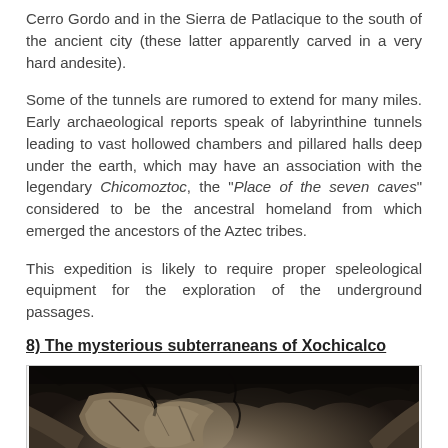Cerro Gordo and in the Sierra de Patlacique to the south of the ancient city (these latter apparently carved in a very hard andesite).
Some of the tunnels are rumored to extend for many miles. Early archaeological reports speak of labyrinthine tunnels leading to vast hollowed chambers and pillared halls deep under the earth, which may have an association with the legendary Chicomoztoc, the “Place of the seven caves” considered to be the ancestral homeland from which emerged the ancestors of the Aztec tribes.
This expedition is likely to require proper speleological equipment for the exploration of the underground passages.
8) The mysterious subterraneans of Xochicalco
[Figure (photo): Dark cave interior showing rough rocky stone walls and ceiling with cracks and dark shadows, illuminated from below.]